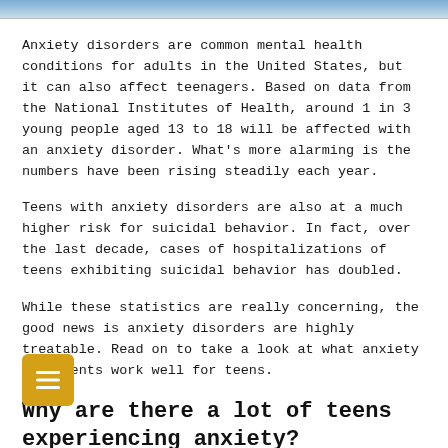[Figure (photo): Top strip of a photo showing people, partially cropped at the top of the page]
Anxiety disorders are common mental health conditions for adults in the United States, but it can also affect teenagers. Based on data from the National Institutes of Health, around 1 in 3 young people aged 13 to 18 will be affected with an anxiety disorder. What's more alarming is the numbers have been rising steadily each year.
Teens with anxiety disorders are also at a much higher risk for suicidal behavior. In fact, over the last decade, cases of hospitalizations of teens exhibiting suicidal behavior has doubled.
While these statistics are really concerning, the good news is anxiety disorders are highly treatable. Read on to take a look at what anxiety treatments work well for teens.
Why are there a lot of teens experiencing anxiety?